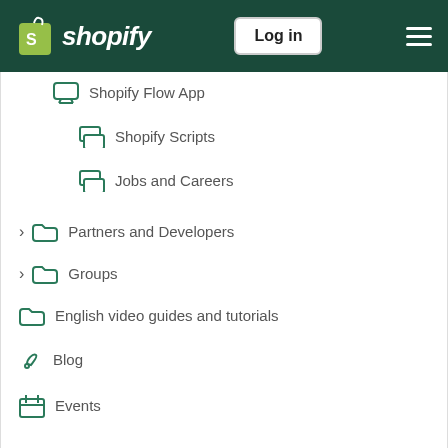Shopify — Log in
Shopify Flow App
Shopify Scripts
Jobs and Careers
Partners and Developers
Groups
English video guides and tutorials
Blog
Events